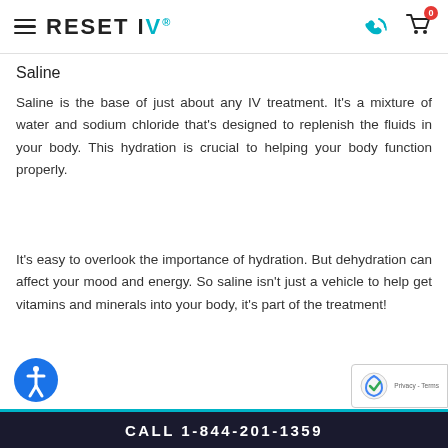RESET IV
Saline
Saline is the base of just about any IV treatment. It’s a mixture of water and sodium chloride that’s designed to replenish the fluids in your body. This hydration is crucial to helping your body function properly.
It’s easy to overlook the importance of hydration. But dehydration can affect your mood and energy. So saline isn’t just a vehicle to help get vitamins and minerals into your body, it’s part of the treatment!
CALL 1-844-201-1359